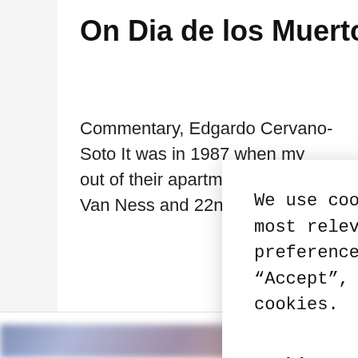On Dia de los Muertos, Memorial
Commentary, Edgardo Cervano-Soto It was in 1987 when my out of their apartment unit on South Van Ness and 22nd Stre
We use cookies on our website to give you the most relevant experience by remembering your preferences and repeat visits. By clicking “Accept”, you consent to the use of ALL the cookies.
Cookie settings
ACCEPT